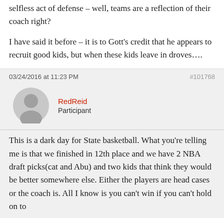selfless act of defense – well, teams are a reflection of their coach right?

I have said it before – it is to Gott's credit that he appears to recruit good kids, but when these kids leave in droves….
03/24/2016 at 11:23 PM
#101768
RedReid
Participant
This is a dark day for State basketball. What you're telling me is that we finished in 12th place and we have 2 NBA draft picks(cat and Abu) and two kids that think they would be better somewhere else. Either the players are head cases or the coach is. All I know is you can't win if you can't hold on to